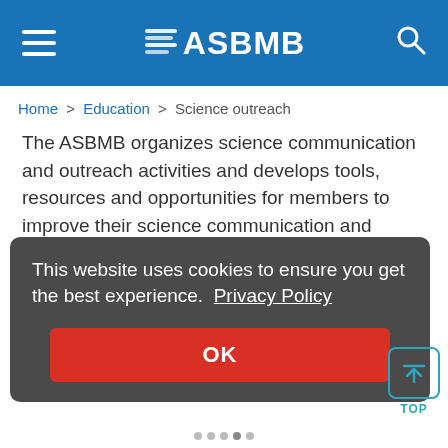ASBMB
Home > Education > Science outreach
The ASBMB organizes science communication and outreach activities and develops tools, resources and opportunities for members to improve their science communication and public engagement skills. These efforts are spearheaded by the Science Outreach and Communication
This website uses cookies to ensure you get the best experience. Privacy Policy
OK